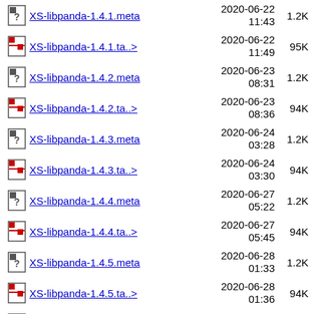XS-libpanda-1.4.1.meta  2020-06-22 11:43  1.2K
XS-libpanda-1.4.1.ta..>  2020-06-22 11:49  95K
XS-libpanda-1.4.2.meta  2020-06-23 08:31  1.2K
XS-libpanda-1.4.2.ta..>  2020-06-23 08:36  94K
XS-libpanda-1.4.3.meta  2020-06-24 03:28  1.2K
XS-libpanda-1.4.3.ta..>  2020-06-24 03:30  94K
XS-libpanda-1.4.4.meta  2020-06-27 05:22  1.2K
XS-libpanda-1.4.4.ta..>  2020-06-27 05:45  94K
XS-libpanda-1.4.5.meta  2020-06-28 01:33  1.2K
XS-libpanda-1.4.5.ta..>  2020-06-28 01:36  94K
XS-libpanda-1.4.6.meta  2020-07-01 04:20  1.2K
XS-libpanda-1.4.6.ta..>  2020-07-01